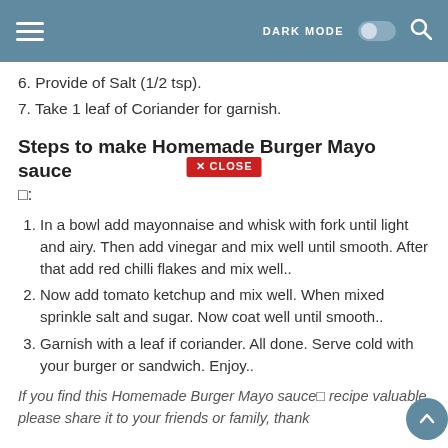DARK MODE [toggle] [search]
6. Provide of Salt (1/2 tsp).
7. Take 1 leaf of Coriander for garnish.
Steps to make Homemade Burger Mayo sauce □:
1. In a bowl add mayonnaise and whisk with fork until light and airy. Then add vinegar and mix well until smooth. After that add red chilli flakes and mix well..
2. Now add tomato ketchup and mix well. When mixed sprinkle salt and sugar. Now coat well until smooth..
3. Garnish with a leaf if coriander. All done. Serve cold with your burger or sandwich. Enjoy..
If you find this Homemade Burger Mayo sauce□ recipe valuable please share it to your friends or family, thank